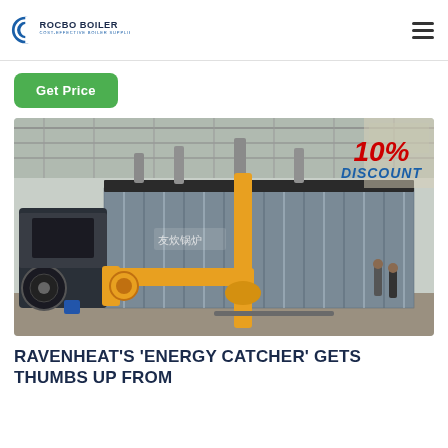ROCBO BOILER — COST-EFFECTIVE BOILER SUPPLIER
Get Price
[Figure (photo): Industrial gas-fired boiler with corrugated metal casing and yellow piping in a factory setting, with a 10% DISCOUNT badge overlay in the upper right corner.]
RAVENHEAT'S 'ENERGY CATCHER' GETS THUMBS UP FROM